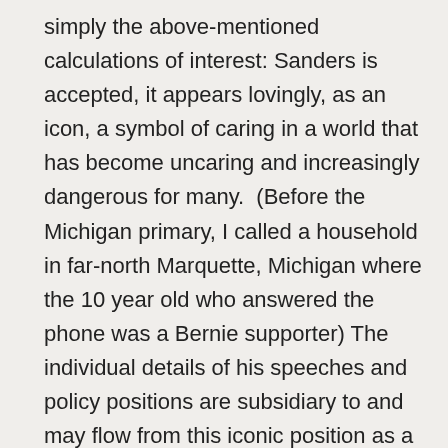simply the above-mentioned calculations of interest: Sanders is accepted, it appears lovingly, as an icon, a symbol of caring in a world that has become uncaring and increasingly dangerous for many.  (Before the Michigan primary, I called a household in far-north Marquette, Michigan where the 10 year old who answered the phone was a Bernie supporter) The individual details of his speeches and policy positions are subsidiary to and may flow from this iconic position as a leader representing what I am calling here agapé love for the American people and for humanity more generally.  Some of those policy positions are not what I would wish them to be (and some seem to be calculated compromises with a dysfunctional American political system) but I am more of a policy wonk than most voters, especially around issues of climate change and economics.  It is not clear now but maybe Sanders may